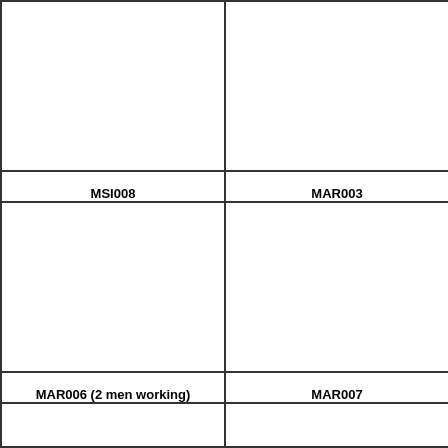| (image) | (image) |
| MSI008 | MAR003 |
| (image) | (image) |
| MAR006 (2 men working) | MAR007 |
| (image) | (image) |